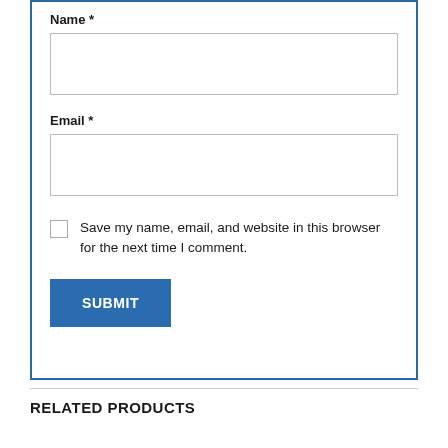Name *
[Figure (other): Empty text input field for Name]
Email *
[Figure (other): Empty text input field for Email]
Save my name, email, and website in this browser for the next time I comment.
[Figure (other): SUBMIT button in blue]
RELATED PRODUCTS